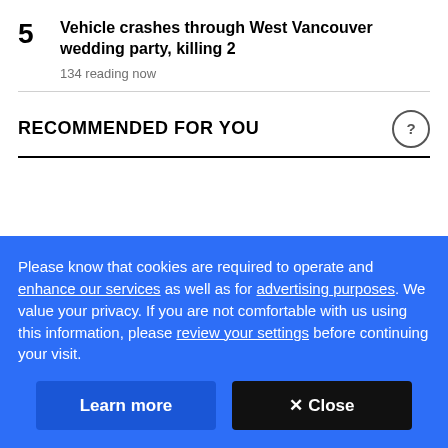5 Vehicle crashes through West Vancouver wedding party, killing 2 — 134 reading now
RECOMMENDED FOR YOU
Please know that cookies are required to operate and enhance our services as well as for advertising purposes. We value your privacy. If you are not comfortable with us using this information, please review your settings before continuing your visit.
Learn more | ✕ Close